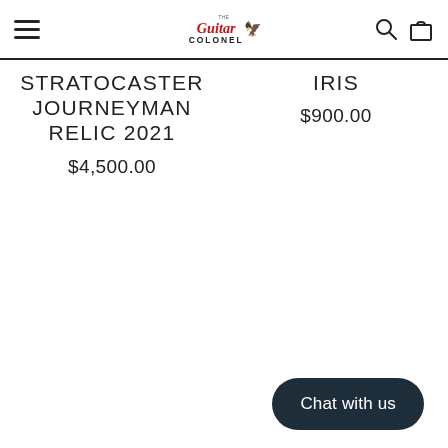The Guitar Colonel — navigation header with hamburger menu, logo, search and cart icons
STRATOCASTER JOURNEYMAN RELIC 2021
$4,500.00
IRIS
$900.00
Chat with us